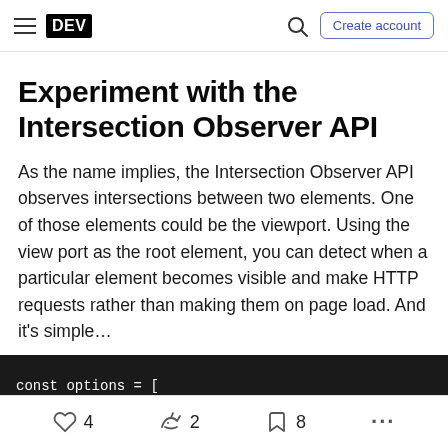DEV — Search — Create account
Experiment with the Intersection Observer API
As the name implies, the Intersection Observer API observes intersections between two elements. One of those elements could be the viewport. Using the view port as the root element, you can detect when a particular element becomes visible and make HTTP requests rather than making them on page load. And it's simple…
[Figure (screenshot): Dark code block showing start of JavaScript code: const options = []
4 likes   2 unicorns   8 bookmarks   more options